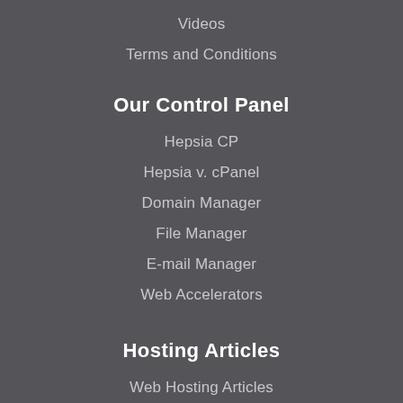Videos
Terms and Conditions
Our Control Panel
Hepsia CP
Hepsia v. cPanel
Domain Manager
File Manager
E-mail Manager
Web Accelerators
Hosting Articles
Web Hosting Articles